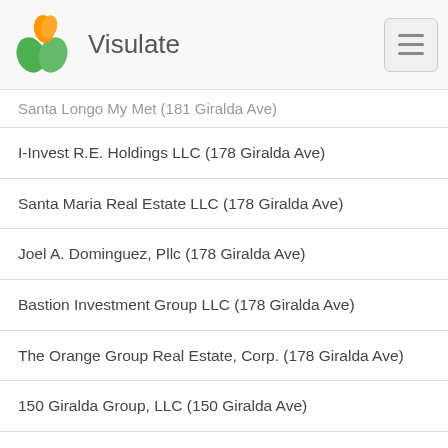Visulate
Santa Longo My Met (181 Giralda Ave)
I-Invest R.E. Holdings LLC (178 Giralda Ave)
Santa Maria Real Estate LLC (178 Giralda Ave)
Joel A. Dominguez, Pllc (178 Giralda Ave)
Bastion Investment Group LLC (178 Giralda Ave)
The Orange Group Real Estate, Corp. (178 Giralda Ave)
150 Giralda Group, LLC (150 Giralda Ave)
Costa 150 Giralda LLC (150 Giralda Ave)
Divino Ceviche Coral Gables, Inc. (160 Giralda Ave)
Agencias De Viajes V.I.P./Ecuatours, Inc. (156 Giralda Ave)